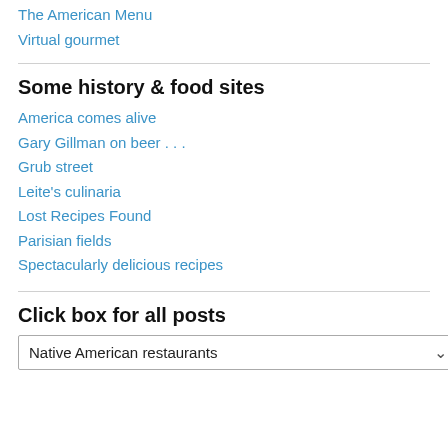The American Menu
Virtual gourmet
Some history & food sites
America comes alive
Gary Gillman on beer . . .
Grub street
Leite's culinaria
Lost Recipes Found
Parisian fields
Spectacularly delicious recipes
Click box for all posts
Native American restaurants